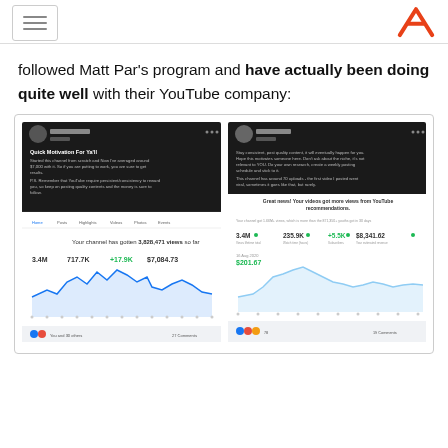[hamburger menu] [logo A]
followed Matt Par's program and have actually been doing quite well with their YouTube company:
[Figure (screenshot): Two social media screenshots showing YouTube channel analytics. Left: Facebook post by 'Ali' showing channel stats with 3,828,471 views, 3.4M views, 717.7K, +17.9K, $7,084.73. Right: Facebook post by 'Dan' showing YouTube recommendation notification with stats 3.4M views, 235.9K watch hours, +5.5K subscribers, $8,341.62 revenue.]